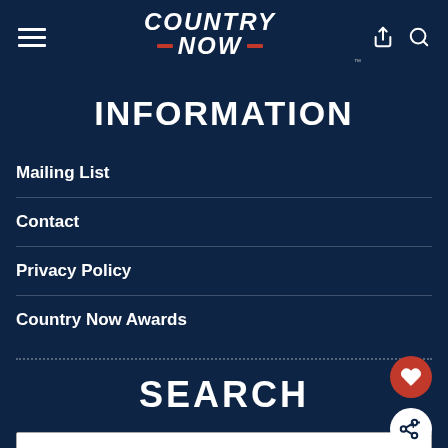COUNTRY NOW
INFORMATION
Mailing List
Contact
Privacy Policy
Country Now Awards
SEARCH